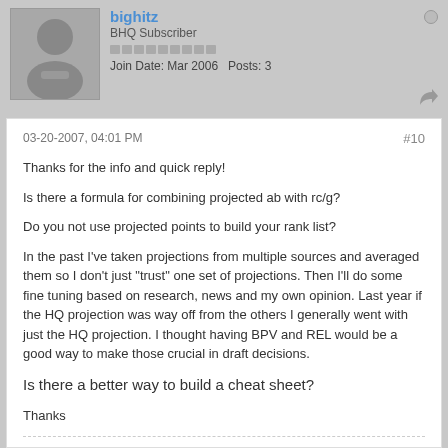bighitz
BHQ Subscriber
Join Date: Mar 2006   Posts: 3
03-20-2007, 04:01 PM
#10
Thanks for the info and quick reply!
Is there a formula for combining projected ab with rc/g?
Do you not use projected points to build your rank list?
In the past I've taken projections from multiple sources and averaged them so I don't just "trust" one set of projections. Then I'll do some fine tuning based on research, news and my own opinion. Last year if the HQ projection was way off from the others I generally went with just the HQ projection. I thought having BPV and REL would be a good way to make those crucial in draft decisions.
Is there a better way to build a cheat sheet?
Thanks
NICK@HQ
Minor League Analyst